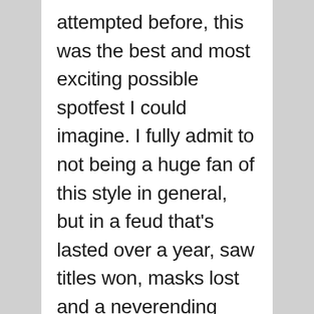attempted before, this was the best and most exciting possible spotfest I could imagine. I fully admit to not being a huge fan of this style in general, but in a feud that's lasted over a year, saw titles won, masks lost and a neverending desire from the Japanese export to finally win the big one against his greatest rival and avenge his lost mask that represented a ghost weasel along with his name in México. There × was no need for a feeling out process here, this was a big match